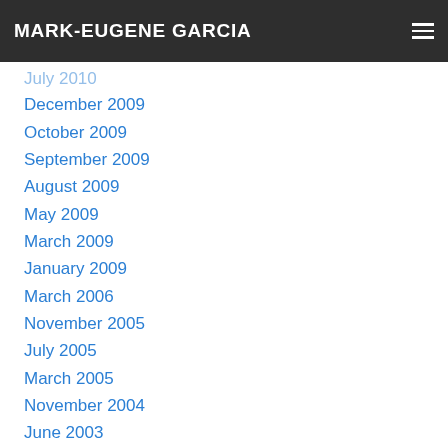MARK-EUGENE GARCIA
July 2010
December 2009
October 2009
September 2009
August 2009
May 2009
March 2009
January 2009
March 2006
November 2005
July 2005
March 2005
November 2004
June 2003
July 2001
October 2000
June 2000
December 1999